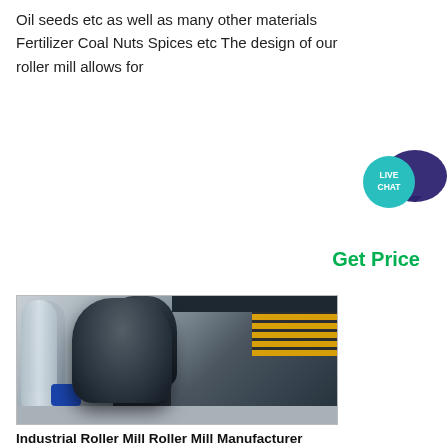Oil seeds etc as well as many other materials Fertilizer Coal Nuts Spices etc The design of our roller mill allows for
[Figure (other): Live chat speech bubble icon with teal circle and dark purple speech bubble]
Get Price
[Figure (photo): Industrial roller mill machine inside a factory building, with spiral duct on left, large black milling machine in center, yellow staircase railing on right, and fire extinguishers visible]
Industrial Roller Mill Roller Mill Manufacturer